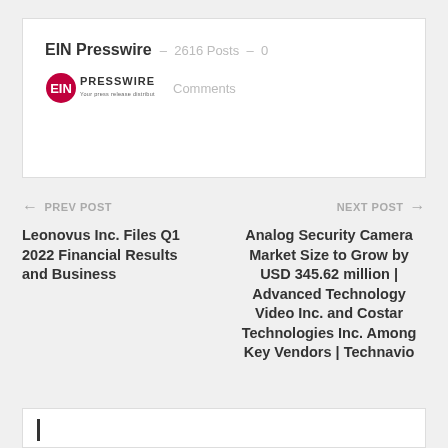EIN Presswire – 2616 Posts – 0 Comments
[Figure (logo): EIN Presswire logo — red circle with 'EIN' text and 'PRESSWIRE' text beside it]
← PREV POST
NEXT POST →
Leonovus Inc. Files Q1 2022 Financial Results and Business
Analog Security Camera Market Size to Grow by USD 345.62 million | Advanced Technology Video Inc. and Costar Technologies Inc. Among Key Vendors | Technavio